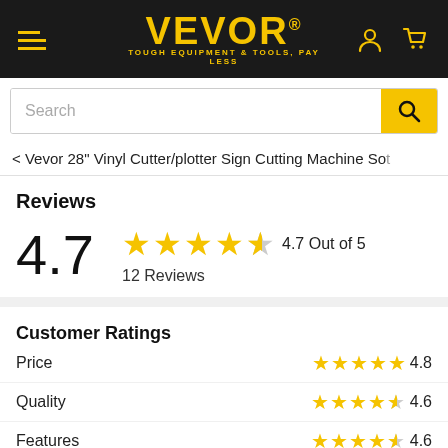VEVOR® TOUGH EQUIPMENT & TOOLS, PAY LESS
Search
< Vevor 28" Vinyl Cutter/plotter Sign Cutting Machine So...
Reviews
4.7 — 4.7 Out of 5 — 12 Reviews
Customer Ratings
Price 4.8
Quality 4.6
Features 4.6